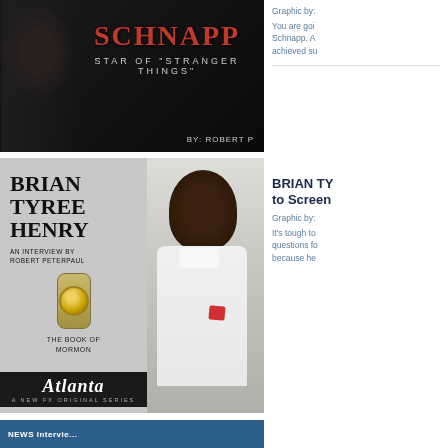[Figure (photo): Dark background image with red stylized text SCHNAPP, subtitle STAR OF STRANGER THINGS, byline BY: ROBERT P]
Graphic by:
You are going to learn all about Noah Schnapp. A young actor who has already achieved su
[Figure (photo): Brian Tyree Henry article graphic with grey background showing BRIAN TYREE HENRY in large bold text, AN INTERVIEW BY ROBERT PETERPAUL, THE BOOK OF MORMON doorbell graphic, ATLANTA logo, and a photo of Brian Tyree Henry in white jacket]
BRIAN TY... to Scree...
Graphic by:
It's tough to... questions fo... because he...
[Figure (photo): Bottom blue strip partial image]